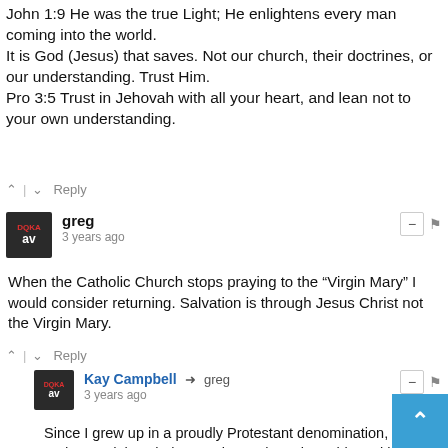John 1:9 He was the true Light; He enlightens every man coming into the world.
It is God (Jesus) that saves. Not our church, their doctrines, or our understanding. Trust Him.
Pro 3:5 Trust in Jehovah with all your heart, and lean not to your own understanding.
^ | v  Reply
greg
3 years ago
When the Catholic Church stops praying to the “Virgin Mary” I would consider returning. Salvation is through Jesus Christ not the Virgin Mary.
^ | v  Reply
Kay Campbell → greg
3 years ago
Since I grew up in a proudly Protestant denomination, I didn't understand the whole "Praying to the saints" thing, either. But the older I get, the more I love the doctrine (capsulized in that line in "For the Beauty of the Earth": "Friends on Earth and friends above."